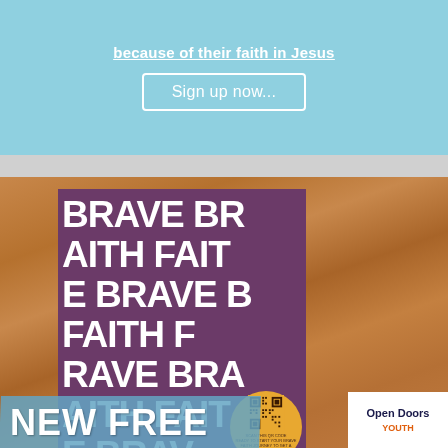because of their faith in Jesus
Sign up now...
[Figure (photo): A purple booklet/magazine with white bold text repeating 'BRAVE FAITH' in large letters, placed on a wooden surface. A gold circular QR code sticker is on the bottom right of the booklet. Bottom text reads 'BRAVE FAITH WITH THE PERSECUTED CHURCH'. Open Doors Youth logo in bottom right corner. 'NEW FREE' text overlay in light blue at the bottom left.]